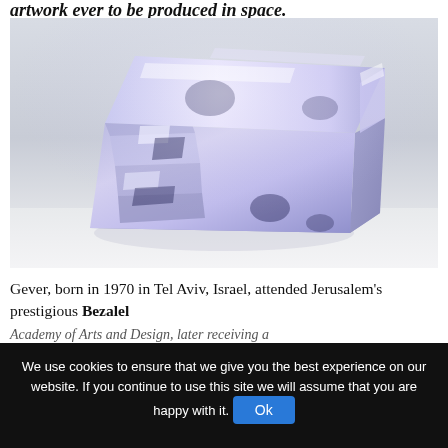artwork ever to be produced in space.
[Figure (photo): A shiny metallic crumpled box-like sculpture with a chrome/purple reflective surface, photographed against a light gray background on a white surface.]
Gever, born in 1970 in Tel Aviv, Israel, attended Jerusalem's prestigious Bezalel Academy of Arts and Design, later receiving a
We use cookies to ensure that we give you the best experience on our website. If you continue to use this site we will assume that you are happy with it. Ok